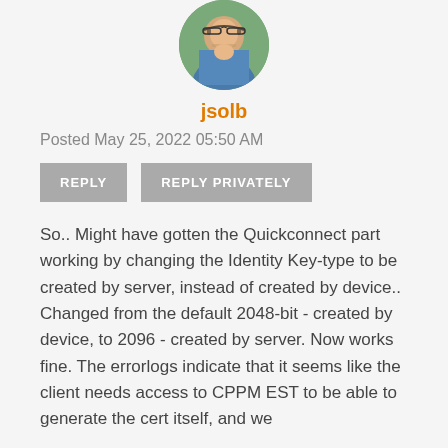[Figure (photo): Circular avatar photo of a person wearing glasses outdoors]
jsolb
Posted May 25, 2022 05:50 AM
REPLY
REPLY PRIVATELY
So.. Might have gotten the Quickconnect part working by changing the Identity Key-type to be created by server, instead of created by device.. Changed from the default 2048-bit - created by device, to 2096 - created by server. Now works fine. The errorlogs indicate that it seems like the client needs access to CPPM EST to be able to generate the cert itself, and we